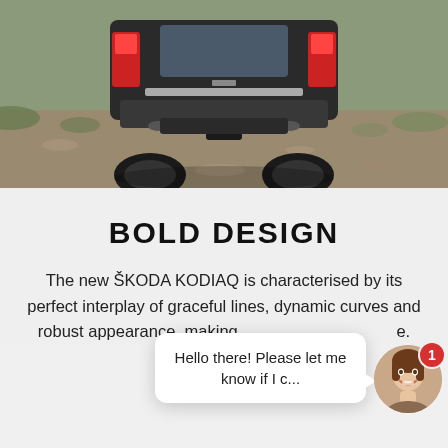[Figure (photo): Rear view of a Škoda Kodiaq SUV on a gravel/grass off-road terrain, photographed from behind at low angle showing undercarriage and rear bumper.]
BOLD DESIGN
The new ŠKODA KODIAQ is characterised by its perfect interplay of graceful lines, dynamic curves and robust appearance, making it unmistakably unique.
[Figure (screenshot): Live chat widget overlay showing a speech bubble with text 'Hello there! Please let me know if I c...' and a circular avatar photo of a smiling young woman with a red notification badge showing '1'.]